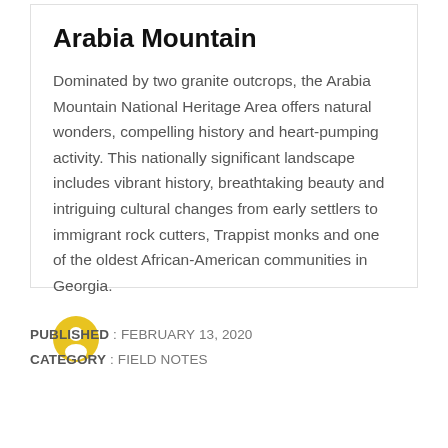Arabia Mountain
Dominated by two granite outcrops, the Arabia Mountain National Heritage Area offers natural wonders, compelling history and heart-pumping activity. This nationally significant landscape includes vibrant history, breathtaking beauty and intriguing cultural changes from early settlers to immigrant rock cutters, Trappist monks and one of the oldest African-American communities in Georgia.
[Figure (illustration): Yellow circle icon with a person/user silhouette in the center]
PUBLISHED : FEBRUARY 13, 2020
CATEGORY : FIELD NOTES